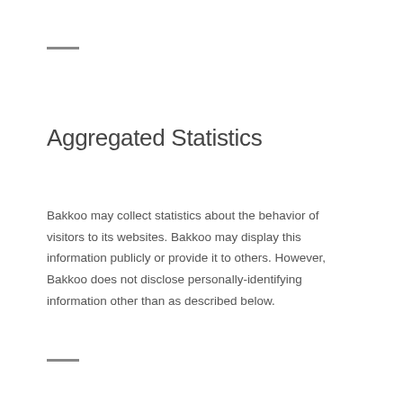—
Aggregated Statistics
Bakkoo may collect statistics about the behavior of visitors to its websites. Bakkoo may display this information publicly or provide it to others. However, Bakkoo does not disclose personally-identifying information other than as described below.
—